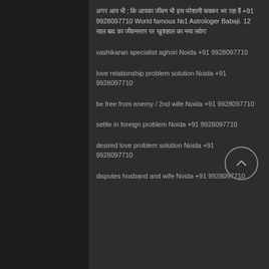अगर आप भी ; कि आपका जीवन भी इस परेशानी चक्कर भर रहा हैं +91 9928097710 World famous №1 Astrologer Babaji. 12 साल बाद का जीवनस्तर पर खुशहाल का नया सवेरा
vashikaran specialist aghori Noida +91 9928097710
love relationship problem solution Noida +91 9928097710
be free from enemy / 2nd wife Noida +91 9928097710
settle in foreign problem Noida +91 9928097710
desired love problem solution Noida +91 9928097710
disputes husband and wife Noida +91 9928097710